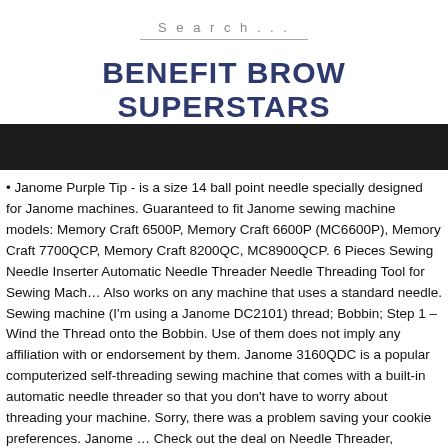Search...
BENEFIT BROW SUPERSTARS
[Figure (photo): Dark/black banner image below the site title heading]
• Janome Purple Tip - is a size 14 ball point needle specially designed for Janome machines. Guaranteed to fit Janome sewing machine models: Memory Craft 6500P, Memory Craft 6600P (MC6600P), Memory Craft 7700QCP, Memory Craft 8200QC, MC8900QCP. 6 Pieces Sewing Needle Inserter Automatic Needle Threader Needle Threading Tool for Sewing Mach… Also works on any machine that uses a standard needle. Sewing machine (I'm using a Janome DC2101) thread; Bobbin; Step 1 – Wind the Thread onto the Bobbin. Use of them does not imply any affiliation with or endorsement by them. Janome 3160QDC is a popular computerized self-threading sewing machine that comes with a built-in automatic needle threader so that you don't have to worry about threading your machine. Sorry, there was a problem saving your cookie preferences. Janome … Check out the deal on Needle Threader, Janome #639643009 at Sewing Parts Online